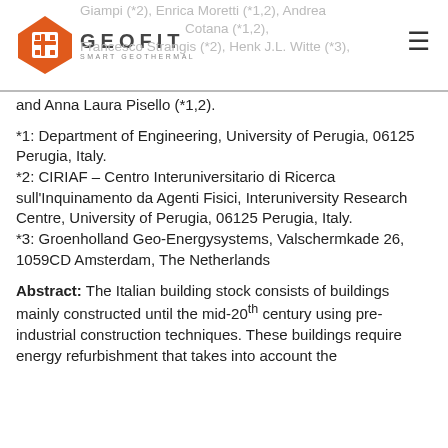GEOFIT SMART GEOTHERMAL [logo]
Giampi (*2), Enrica Moretti (*1,2), Andrea ... Cotana (*1,2), Francesco Strangis (*2), Henk J.L. Witte (*3), and Anna Laura Pisello (*1,2).
*1: Department of Engineering, University of Perugia, 06125 Perugia, Italy.
*2: CIRIAF – Centro Interuniversitario di Ricerca sull'Inquinamento da Agenti Fisici, Interuniversity Research Centre, University of Perugia, 06125 Perugia, Italy.
*3: Groenholland Geo-Energysystems, Valschermkade 26, 1059CD Amsterdam, The Netherlands
Abstract: The Italian building stock consists of buildings mainly constructed until the mid-20th century using pre-industrial construction techniques. These buildings require energy refurbishment that takes into account the